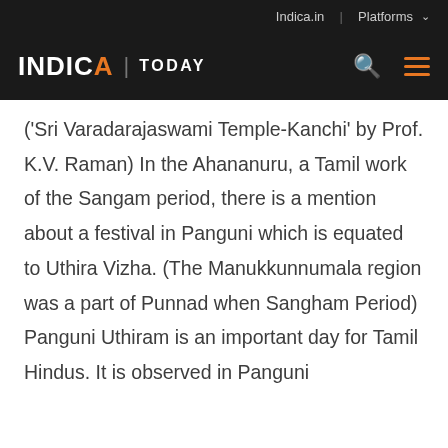Indica.in | Platforms
INDICA | TODAY
('Sri Varadarajaswami Temple-Kanchi' by Prof. K.V. Raman) In the Ahananuru, a Tamil work of the Sangam period, there is a mention about a festival in Panguni which is equated to Uthira Vizha. (The Manukkunnumala region was a part of Punnad when Sangham Period) Panguni Uthiram is an important day for Tamil Hindus. It is observed in Panguni